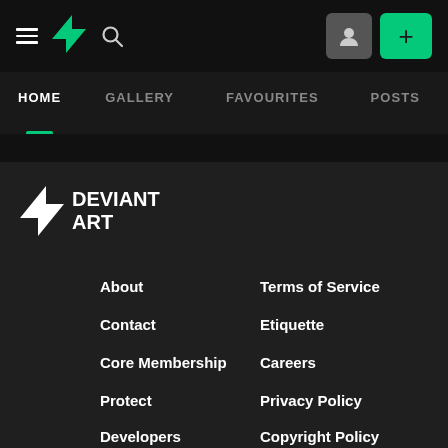[Figure (screenshot): DeviantArt website header with hamburger menu, DA logo, search icon, avatar button, and green plus button]
HOME  GALLERY  FAVOURITES  POSTS
[Figure (logo): DeviantArt footer logo with DA icon and DEVIANT ART text]
About
Terms of Service
Contact
Etiquette
Core Membership
Careers
Protect
Privacy Policy
Developers
Copyright Policy